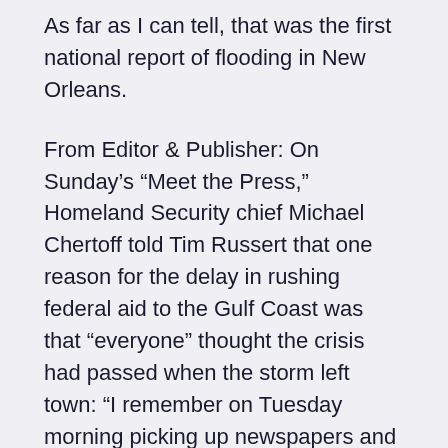As far as I can tell, that was the first national report of flooding in New Orleans.
From Editor & Publisher: On Sunday’s “Meet the Press,” Homeland Security chief Michael Chertoff told Tim Russert that one reason for the delay in rushing federal aid to the Gulf Coast was that “everyone” thought the crisis had passed when the storm left town: “I remember on Tuesday morning picking up newspapers and I saw headlines, ‘New Orleans Dodged The Bullet.’”